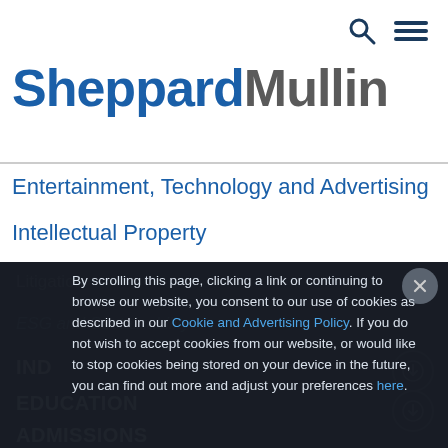[Figure (screenshot): Search icon (magnifying glass) and hamburger menu icon in top right corner of page header]
SheppardMullin
Entertainment, Technology and Advertising
Intellectual Property
Litigation
ESG and Sustainability
IND
EDUCATION
ADMISSIONS
By scrolling this page, clicking a link or continuing to browse our website, you consent to our use of cookies as described in our Cookie and Advertising Policy. If you do not wish to accept cookies from our website, or would like to stop cookies being stored on your device in the future, you can find out more and adjust your preferences here.